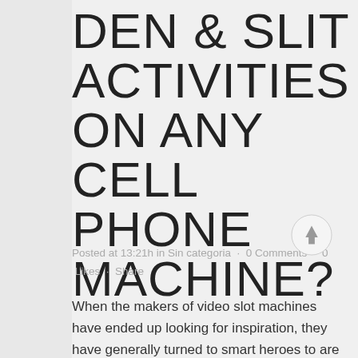DEN & SLIT ACTIVITIES ON ANY CELL PHONE MACHINE?
Posted at 13:21h in Sin categoria · 0 Comments · 0 Likes · Share
When the makers of video slot machines have ended up looking for inspiration, they have generally turned to smart heroes to are